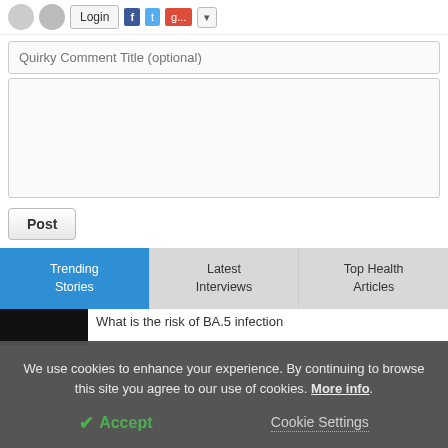[Figure (screenshot): Top bar with avatar placeholder, Login button, Facebook, Twitter, Google+ social login icons, and dropdown arrow]
Quirky Comment Title (optional)
[Figure (screenshot): Empty textarea comment input box]
Post
Trending Stories
Latest Interviews
Top Health Articles
What is the risk of BA.5 infection
We use cookies to enhance your experience. By continuing to browse this site you agree to our use of cookies. More info.
✔ Accept
Cookie Settings